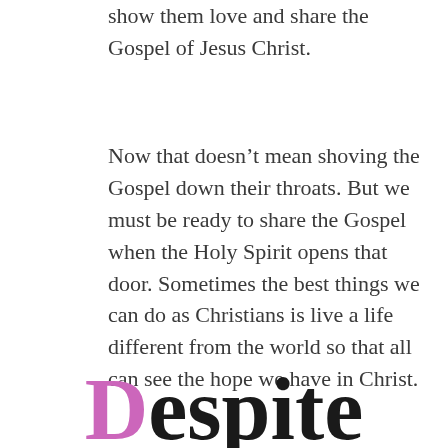show them love and share the Gospel of Jesus Christ.
Now that doesn’t mean shoving the Gospel down their throats. But we must be ready to share the Gospel when the Holy Spirit opens that door. Sometimes the best things we can do as Christians is live a life different from the world so that all can see the hope we have in Christ.
Despite